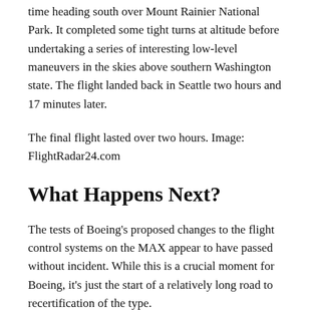time heading south over Mount Rainier National Park. It completed some tight turns at altitude before undertaking a series of interesting low-level maneuvers in the skies above southern Washington state. The flight landed back in Seattle two hours and 17 minutes later.
The final flight lasted over two hours. Image: FlightRadar24.com
What Happens Next?
The tests of Boeing's proposed changes to the flight control systems on the MAX appear to have passed without incident. While this is a crucial moment for Boeing, it's just the start of a relatively long road to recertification of the type.